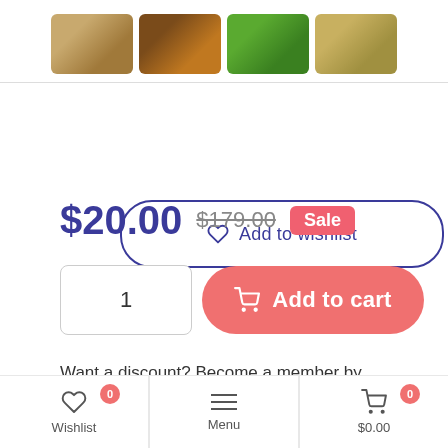[Figure (photo): Four thumbnail images of brewing ingredients: grain, beer in glass, green hops, dried hay/straw]
[Figure (illustration): Add to wishlist button with heart icon and blue border]
$20.00 $179.00 Sale
1  Add to cart
Want a discount? Become a member by purchasing Basic - Monthly, Plus - Yearly or
Wishlist 0   Menu   $0.00 0